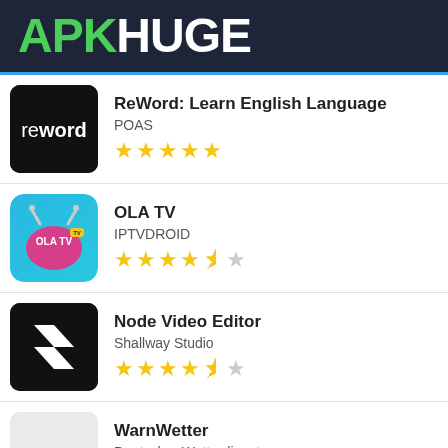APKHUGE
ReWord: Learn English Language
POAS
★★★★★
OLA TV
IPTVDROID
★★★★☆
Node Video Editor
Shallway Studio
★★★★☆
WarnWetter
Deutscher Wetterdienst
★★★★☆